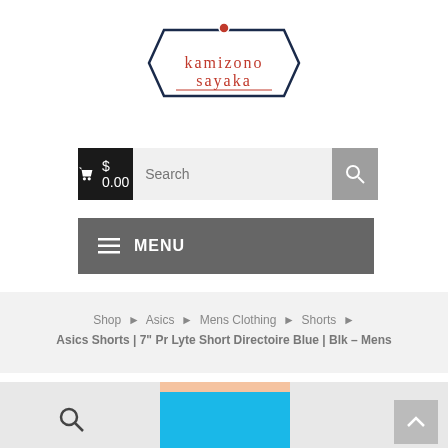[Figure (logo): Kamizono Sayaka brand logo: a hexagonal badge outline with a red dot at the top, containing the text 'kamizono sayaka' in red serif-style lettering with a decorative underline, bordered in navy blue.]
[Figure (other): Shopping cart button showing a cart icon and '$ 0.00' on a black background, next to a search input field with placeholder 'Search' and a grey search button with magnifying glass icon.]
[Figure (other): Dark grey navigation bar with hamburger menu icon and bold white text 'MENU'.]
Shop ▶ Asics ▶ Mens Clothing ▶ Shorts ▶ Asics Shorts | 7" Pr Lyte Short Directoire Blue | Blk – Mens
[Figure (photo): Product photo of a man wearing bright blue athletic shorts. Only the torso and legs are visible. A small search magnifying glass icon appears at the bottom left. A grey scroll-to-top button with an upward arrow appears at the bottom right.]